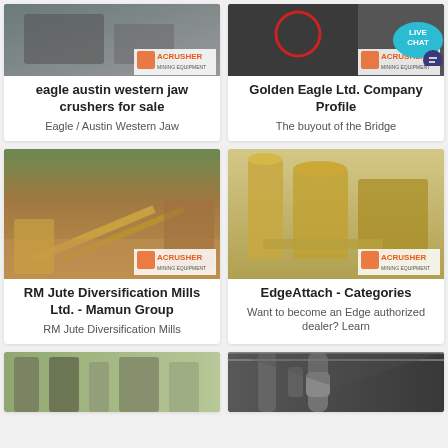[Figure (photo): Mining jaw crusher equipment with ACRUSHER Mining Equipment logo]
eagle austin western jaw crushers for sale
Eagle / Austin Western Jaw
[Figure (photo): Industrial machinery with ACRUSHER Mining Equipment logo and Live Chat bubble overlay]
Golden Eagle Ltd. Company Profile
The buyout of the Bridge
[Figure (photo): Open-air mining site with conveyors and equipment, ACRUSHER Mining Equipment logo]
RM Jute Diversification Mills Ltd. - Mamun Group
RM Jute Diversification Mills
[Figure (photo): Large industrial silos and processing equipment, ACRUSHER Mining Equipment logo]
EdgeAttach - Categories
Want to become an Edge authorized dealer? Learn
[Figure (photo): Industrial green-toned processing equipment interior]
[Figure (photo): Industrial warehouse interior with metal ductwork]